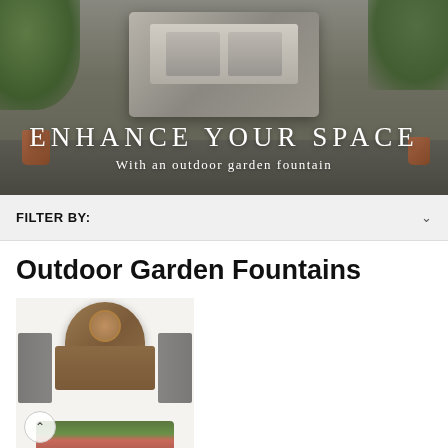[Figure (photo): Hero banner image of an outdoor stone garden fountain (rectangular block style with two basins) with potted plants in the background]
ENHANCE YOUR SPACE
With an outdoor garden fountain
FILTER BY:
Outdoor Garden Fountains
[Figure (photo): Product image of a decorative wall-mounted outdoor garden fountain with ornate bronze/brown finish, flanked by metal garden chairs with flowers below]